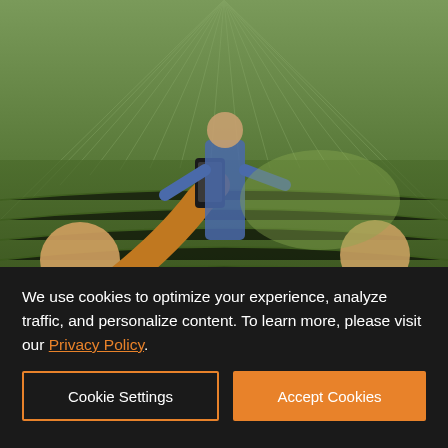[Figure (photo): Outdoor scene showing people in a vineyard or garden. Person in foreground holds up a smartphone to take a photo. A person in a blue shirt stands in the background among rows of plants. Another person in a checkered jacket is visible on the right. Sunrays or plant rows radiate from the top background.]
Somme... soaks i... Gonza... photo d... ano... chin... aps a...
[Figure (advertisement): Earthtone Construction advertisement showing purple flowers with a butterfly. Text reads: Mindful Building, Earthtone CONSTRUCTION, Learn more >, UC.744848]
We use cookies to optimize your experience, analyze traffic, and personalize content. To learn more, please visit our Privacy Policy.
Cookie Settings
Accept Cookies